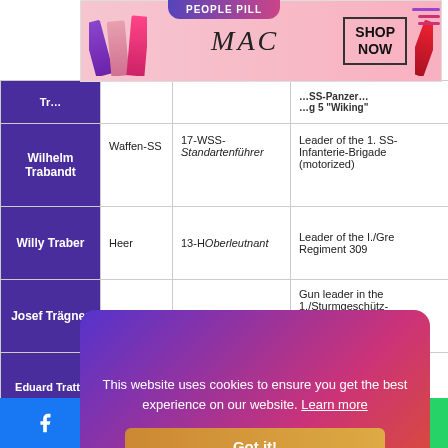[Figure (screenshot): PeoplePill tab header at top center of page]
[Figure (screenshot): MAC cosmetics advertisement banner with lipsticks and SHOP NOW box]
[Figure (screenshot): Hamburger/menu icon top right]
| Träger (name) | Branch | Rank | Notes |
| --- | --- | --- | --- |
| Wilhelm Trabandt | Waffen-SS | 17-WSS-Standartenführer | Leader of the 1. SS-Infanterie-Brigade (motorized) |
| Willy Traber | Heer | 13-H Oberleutnant | Leader of the I./Gren. Regiment 309 |
| Josef Trägner | Heer | 09-H Wachtmeister | Gun leader in the 1./Sturmgeschütz-… |
| Eduard Tratt† |  |  | …geschw… |
| Hans Treuns… |  |  | …f the I… dier-R… |
[Figure (screenshot): Cookie consent overlay: 'This website uses cookies to ensure you get the best experience on our website. Learn more' with Got it! button]
[Figure (screenshot): Social media share bar at bottom with Facebook, Twitter, Reddit, LinkedIn, WhatsApp icons]